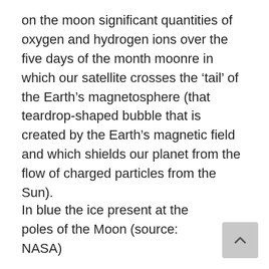on the moon significant quantities of oxygen and hydrogen ions over the five days of the month moonre in which our satellite crosses the 'tail' of the Earth's magnetosphere (that teardrop-shaped bubble that is created by the Earth's magnetic field and which shields our planet from the flow of charged particles from the Sun).
In blue the ice present at the poles of the Moon (source: NASA)